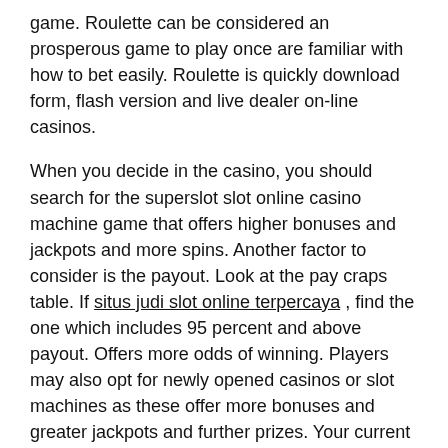game. Roulette can be considered an prosperous game to play once are familiar with how to bet easily. Roulette is quickly download form, flash version and live dealer on-line casinos.
When you decide in the casino, you should search for the superslot slot online casino machine game that offers higher bonuses and jackpots and more spins. Another factor to consider is the payout. Look at the pay craps table. If situs judi slot online terpercaya , find the one which includes 95 percent and above payout. Offers more odds of winning. Players may also opt for newly opened casinos or slot machines as these offer more bonuses and greater jackpots and further prizes. Your current casinos that provide cards to customers. Prepaid credit cards are inserted to every machine if the player plays and the actual tracks down how much the player plays and lists points which could be used to trade for complimentary collectibles. When you play, be